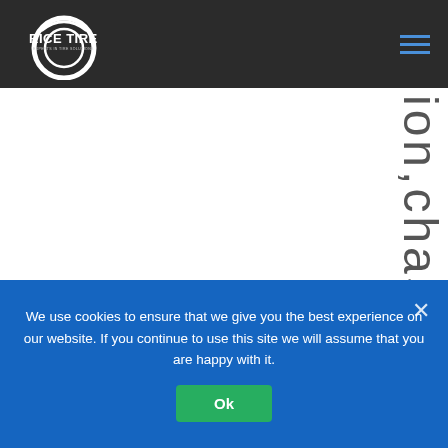[Figure (logo): Rice Tire - Experts in Tire Solutions logo: circular tire shape with company name on dark background header]
ion,chas
We use cookies to ensure that we give you the best experience on our website. If you continue to use this site we will assume that you are happy with it.
Ok